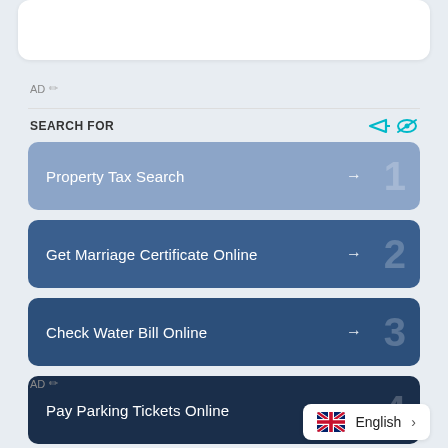AD
SEARCH FOR
Property Tax Search
Get Marriage Certificate Online
Check Water Bill Online
Pay Parking Tickets Online
AD
English